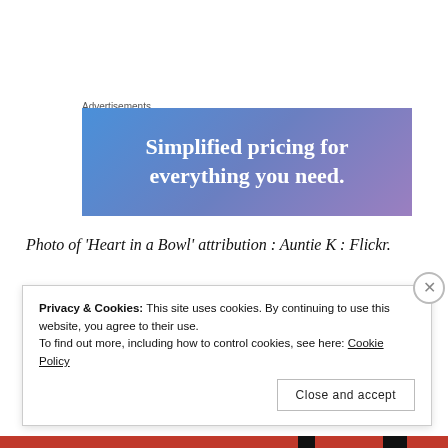Advertisements
[Figure (illustration): Advertisement banner with gradient blue-to-purple background and white text reading 'Simplified pricing for everything you need.']
Photo of 'Heart in a Bowl' attribution : Auntie K : Flickr.
[Keith Jarrett : Koln Concert: Track 4..  6 minutes.]
Privacy & Cookies: This site uses cookies. By continuing to use this website, you agree to their use. To find out more, including how to control cookies, see here: Cookie Policy
Close and accept